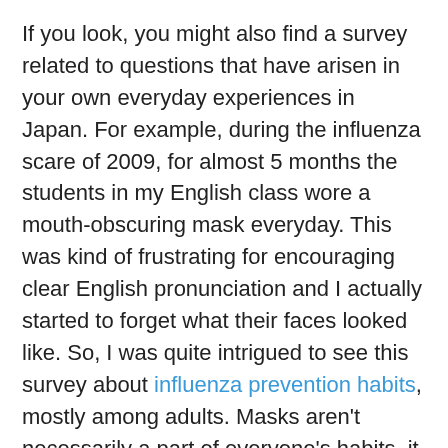If you look, you might also find a survey related to questions that have arisen in your own everyday experiences in Japan. For example, during the influenza scare of 2009, for almost 5 months the students in my English class wore a mouth-obscuring mask everyday. This was kind of frustrating for encouraging clear English pronunciation and I actually started to forget what their faces looked like. So, I was quite intrigued to see this survey about influenza prevention habits, mostly among adults. Masks aren't necessarily a part of everyone's habits, it seems.
I highly suggest visiting 🇯🇵 What Japan Thinks, subscribing to an RSS feed, or liking the facebook page. It`s an excellent resource for entertainment, information, and going beyond the generalizations about Japan, as